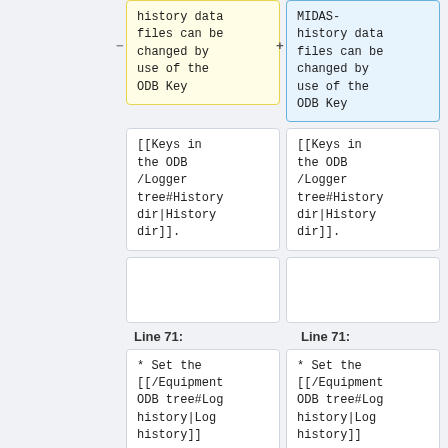history data files can be changed by use of the ODB Key
MIDAS-history data files can be changed by use of the ODB Key
[[Keys in the ODB /Logger tree#Historydir|History dir]].
[[Keys in the ODB /Logger tree#Historydir|History dir]].
Line 71:
Line 71:
* Set the [[/Equipment ODB tree#Log history|Log history]]
* Set the [[/Equipment ODB tree#Log history|Log history]]